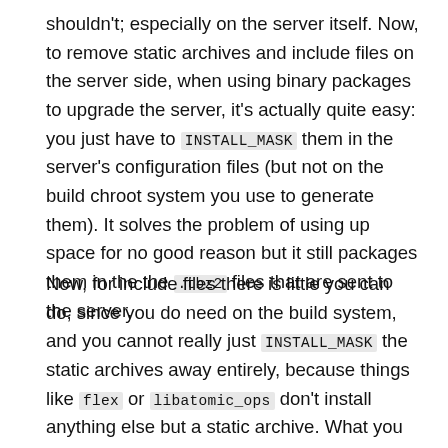shouldn't; especially on the server itself. Now, to remove static archives and include files on the server side, when using binary packages to upgrade the server, it's actually quite easy: you just have to INSTALL_MASK them in the server's configuration files (but not on the build chroot system you use to generate them). It solves the problem of using up space for no good reason but it still packages them in the the .tbz2 files that are sent to the server.
Now, for include files there is little you can do, since you do need on the build system, and you cannot really just INSTALL_MASK the static archives away entirely, because things like flex or libatomic_ops don't install anything else but a static archive. What you can do is